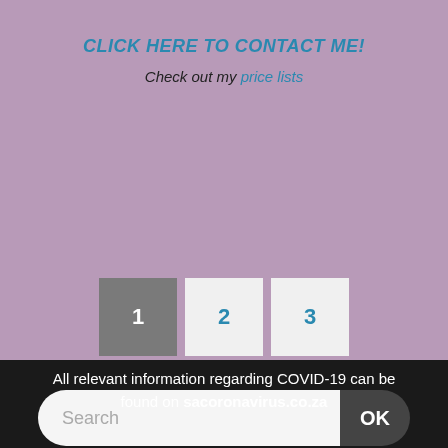CLICK HERE TO CONTACT ME!
Check out my price lists
[Figure (screenshot): Pagination buttons showing pages 1, 2, 3 — button 1 is dark grey, buttons 2 and 3 are light grey with blue numbers]
[Figure (screenshot): Search bar with placeholder text 'Search' and an OK button on the right]
All relevant information regarding COVID-19 can be found on sacoronavirus.co.za